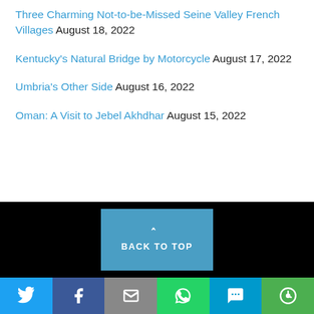Three Charming Not-to-be-Missed Seine Valley French Villages August 18, 2022
Kentucky's Natural Bridge by Motorcycle August 17, 2022
Umbria's Other Side August 16, 2022
Oman: A Visit to Jebel Akhdhar August 15, 2022
BACK TO TOP | Social share bar: Twitter, Facebook, Mail, WhatsApp, SMS, More